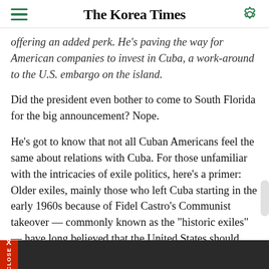The Korea Times
offering an added perk. He's paving the way for American companies to invest in Cuba, a work-around to the U.S. embargo on the island.
Did the president even bother to come to South Florida for the big announcement? Nope.
He's got to know that not all Cuban Americans feel the same about relations with Cuba. For those unfamiliar with the intricacies of exile politics, here's a primer: Older exiles, mainly those who left Cuba starting in the early 1960s because of Fidel Castro's Communist takeover — commonly known as the "historic exiles" — have long believed that the United States should